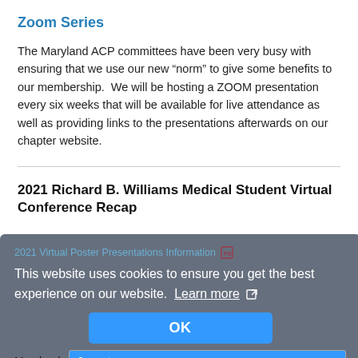Zoom Series
The Maryland ACP committees have been very busy with ensuring that we use our new “norm” to give some benefits to our membership.  We will be hosting a ZOOM presentation every six weeks that will be available for live attendance as well as providing links to the presentations afterwards on our chapter website.
2021 Richard B. Williams Medical Student Virtual Conference Recap
[Figure (screenshot): Cookie consent overlay with text 'This website uses cookies to ensure you get the best experience on our website. Learn more' and an OK button, overlaid on webpage content showing '2021 Virtual Poster Presentations Information' link and a Maryland jump-to-page dropdown.]